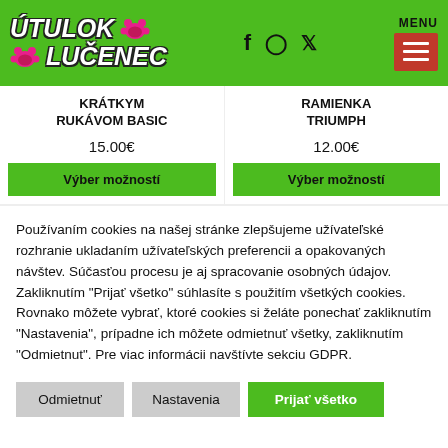ÚTULOK LUČENEC — MENU header with social icons
KRÁTKYM RUKÁVOM BASIC
RAMIENKA TRIUMPH
15.00€
12.00€
Výber možností
Výber možností
Používaním cookies na našej stránke zlepšujeme užívateľské rozhranie ukladaním užívateľských preferencii a opakovaných návštev. Súčasťou procesu je aj spracovanie osobných údajov. Zakliknutím "Prijať všetko" súhlasíte s použitím všetkých cookies. Rovnako môžete vybrať, ktoré cookies si želáte ponechať zakliknutím "Nastavenia", prípadne ich môžete odmietnuť všetky, zakliknutím "Odmietnut". Pre viac informácii navštívte sekciu GDPR.
Odmietnuť | Nastavenia | Prijať všetko